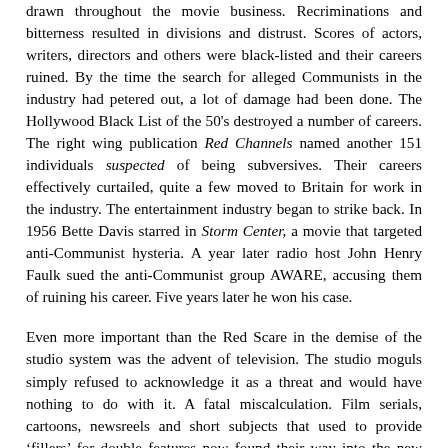drawn throughout the movie business. Recriminations and bitterness resulted in divisions and distrust. Scores of actors, writers, directors and others were black-listed and their careers ruined. By the time the search for alleged Communists in the industry had petered out, a lot of damage had been done. The Hollywood Black List of the 50's destroyed a number of careers. The right wing publication Red Channels named another 151 individuals suspected of being subversives. Their careers effectively curtailed, quite a few moved to Britain for work in the industry. The entertainment industry began to strike back. In 1956 Bette Davis starred in Storm Center, a movie that targeted anti-Communist hysteria. A year later radio host John Henry Faulk sued the anti-Communist group AWARE, accusing them of ruining his career. Five years later he won his case.
Even more important than the Red Scare in the demise of the studio system was the advent of television. The studio moguls simply refused to acknowledge it as a threat and would have nothing to do with it. A fatal miscalculation. Film serials, cartoons, newsreels and short subjects that used to provide 'fillers' for double features now found their way into the new medium. And the new medium was free. Over the 27 years since the end of World War Two cinema attendances had plummeted from 4060 million in 1946 to just 820 million in 1972, despite the rising population, such was the impact of television. Late night TV